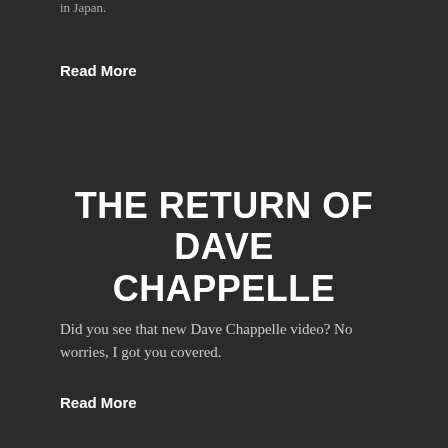in Japan.
Read More
THE RETURN OF DAVE CHAPPELLE
Did you see that new Dave Chappelle video? No worries, I got you covered.
Read More